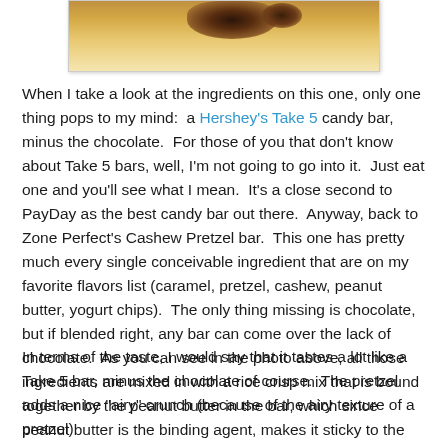[Figure (photo): Partial view of a Zone Perfect Cashew Pretzel candy bar showing a close-up of its texture with caramel/golden coloring and dark areas]
When I take a look at the ingredients on this one, only one thing pops to my mind:  a Hershey's Take 5 candy bar, minus the chocolate.  For those of you that don't know about Take 5 bars, well, I'm not going to go into it.  Just eat one and you'll see what I mean.  It's a close second to PayDay as the best candy bar out there.  Anyway, back to Zone Perfect's Cashew Pretzel bar.  This one has pretty much every single conceivable ingredient that are on my favorite flavors list (caramel, pretzel, cashew, peanut butter, yogurt chips).  The only thing missing is chocolate, but if blended right, any bar can come over the lack of chocolate.  As you can see in the photo above, all those ingredients are mixed in with a rice crisp mix that is bound together by the peanut butter in the bar, which since peanut butter is the binding agent, makes it sticky to the touch.
In terms of the taste, I would say that it tastes a lot like a Take 5 bar, minus the chocolate of course.  The pretzel adds a nice "airy" crunch (because of the airy texture of a pretzel)